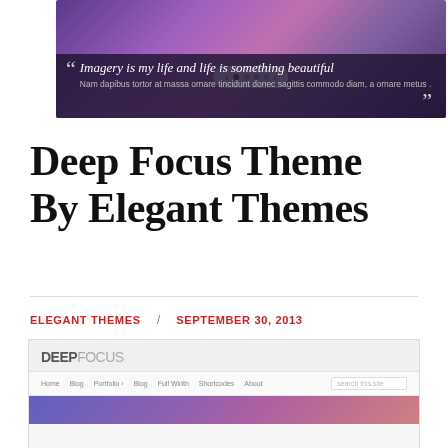[Figure (screenshot): Screenshot of a website slider/banner with a purple-pink gradient image, navigation dots, and a dark overlay quote bar reading: Imagery is my life and life is something beautiful]
Deep Focus Theme By Elegant Themes
ELEGANT THEMES / SEPTEMBER 30, 2013
[Figure (screenshot): Screenshot of the Deep Focus WordPress theme homepage showing the logo DEEPFOCUS, navigation bar with links (Home, Blog, Portfolio, Blog, Full Width, Shortcodes, About) and a search box, with a purple/blue gradient image below]